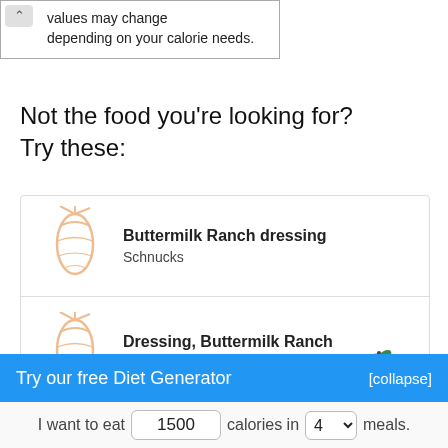values may change depending on your calorie needs.
Not the food you're looking for?
Try these:
Buttermilk Ranch dressing — Schnucks
Dressing, Buttermilk Ranch — Marzetti
Try our free Diet Generator
[collapse]
I want to eat 1500 calories in 4 meals.
Generate